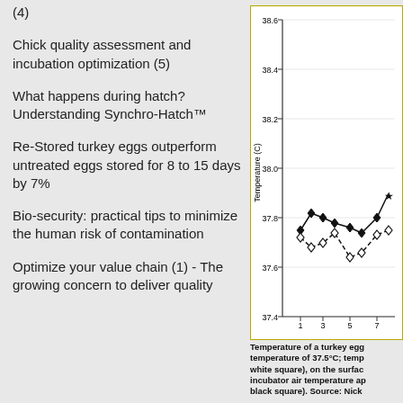(4)
Chick quality assessment and incubation optimization (5)
What happens during hatch? Understanding Synchro-Hatch™
Re-Stored turkey eggs outperform untreated eggs stored for 8 to 15 days by 7%
Bio-security: practical tips to minimize the human risk of contamination
Optimize your value chain (1) - The growing concern to deliver quality
[Figure (continuous-plot): Line chart showing temperature (C) on y-axis ranging from 37.4 to 38.6, and x-axis showing values 1, 3, 5, 7. Two data series with filled diamond markers (upper series around 37.8) and open diamond markers (lower series around 37.65-37.75), showing temperature fluctuations of a turkey egg.]
Temperature of a turkey egg temperature of 37.5°C; temp white square), on the surface incubator air temperature ap black square). Source: Nick